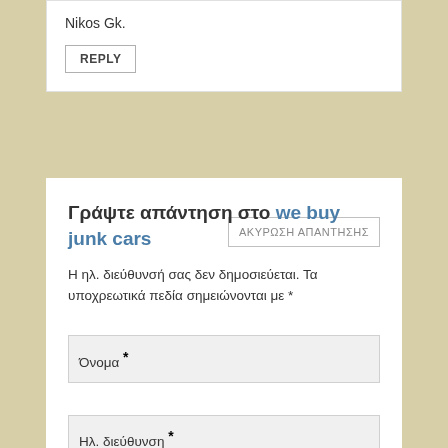Nikos Gk.
REPLY
Γράψτε απάντηση στο we buy junk cars
ΑΚΥΡΩΣΗ ΑΠΑΝΤΗΣΗΣ
Η ηλ. διεύθυνσή σας δεν δημοσιεύεται. Τα υποχρεωτικά πεδία σημειώνονται με *
Όνομα *
Ηλ. διεύθυνση *